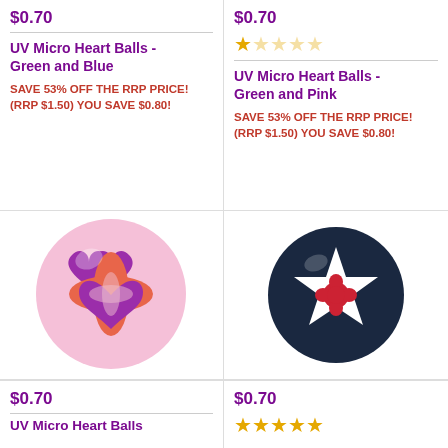$0.70
$0.70
[Figure (other): Star rating: 1 out of 5 stars (gold stars, mostly empty)]
UV Micro Heart Balls - Green and Blue
UV Micro Heart Balls - Green and Pink
SAVE 53% OFF THE RRP PRICE!
(RRP $1.50) YOU SAVE $0.80!
SAVE 53% OFF THE RRP PRICE!
(RRP $1.50) YOU SAVE $0.80!
[Figure (photo): UV Micro Heart Ball - pink/purple with heart pattern on white background]
[Figure (photo): UV Micro ball - dark blue/black with white star and red flower in center]
$0.70
$0.70
[Figure (other): Star rating: 5 out of 5 stars (all gold stars)]
UV Micro Heart Balls